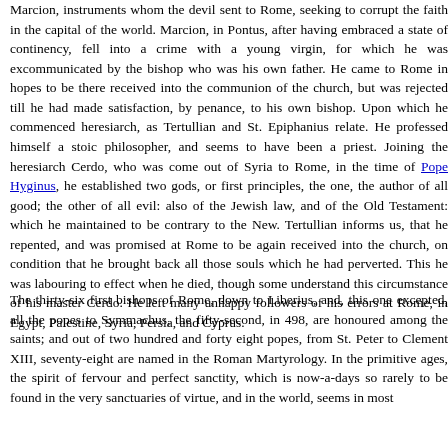Marcion, instruments whom the devil sent to Rome, seeking to corrupt the faith in the capital of the world. Marcion, in Pontus, after having embraced a state of continency, fell into a crime with a young virgin, for which he was excommunicated by the bishop who was his own father. He came to Rome in hopes to be there received into the communion of the church, but was rejected till he had made satisfaction, by penance, to his own bishop. Upon which he commenced heresiarch, as Tertullian and St. Epiphanius relate. He professed himself a stoic philosopher, and seems to have been a priest. Joining the heresiarch Cerdo, who was come out of Syria to Rome, in the time of Pope Hyginus, he established two gods, or first principles, the one, the author of all good; the other of all evil: also of the Jewish law, and of the Old Testament: which he maintained to be contrary to the New. Tertullian informs us, that he repented, and was promised at Rome to be again received into the church, on condition that he brought back all those souls which he had perverted. This he was labouring to effect when he died, though some understand this circumstance of his master Cerdo. He left many unhappy followers of his errors at Rome, in Egypt, Palestine, Syria, Persia, and Cyprus.
The thirty-six first bishops of Rome, down to Liberius, and, this one excepted, all the popes to Symmachus, the fifty-second, in 498, are honoured among the saints; and out of two hundred and forty eight popes, from St. Peter to Clement XIII, seventy-eight are named in the Roman Martyrology. In the primitive ages, the spirit of fervour and perfect sanctity, which is now-a-days so rarely to be found in the very sanctuaries of virtue, and in the world, seems in most